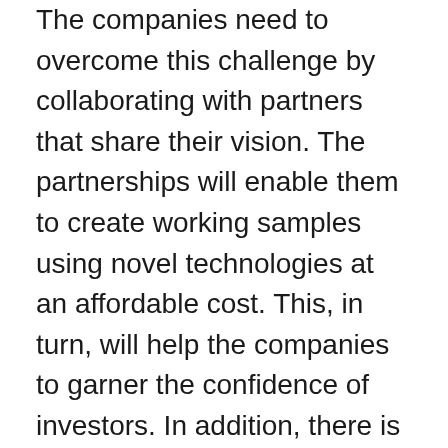The companies need to overcome this challenge by collaborating with partners that share their vision. The partnerships will enable them to create working samples using novel technologies at an affordable cost. This, in turn, will help the companies to garner the confidence of investors. In addition, there is an ardent need to put together a global team of experts from various fields to collaborate on many different features of the core technology and ensure a constructive feedback loop.
The technology companies that have a successful operational model for some other exhaust systems in the different industries should try to expand their current market scope and enter the automotive market with huge partnerships or collaborations for